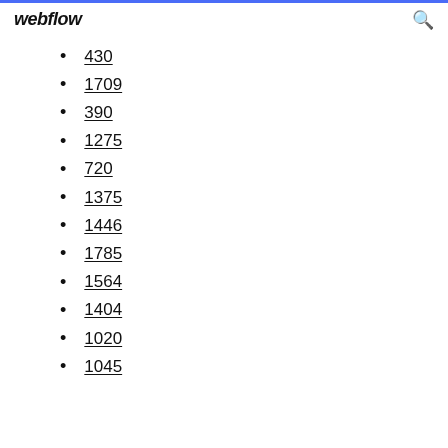webflow
430
1709
390
1275
720
1375
1446
1785
1564
1404
1020
1045